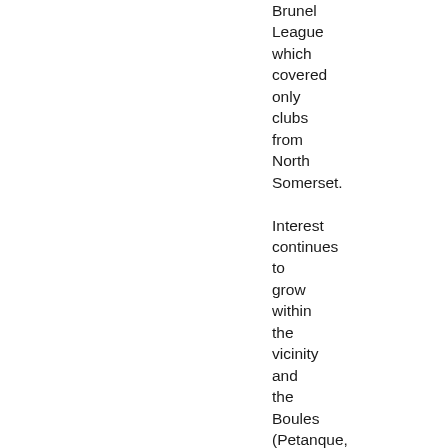Brunel League which covered only clubs from North Somerset. Interest continues to grow within the vicinity and the Boules (Petanque, as it is more correctly known) Club at the Seven Stars